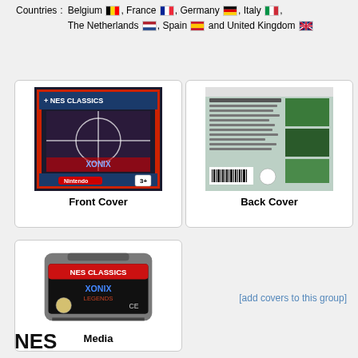Countries : Belgium, France, Germany, Italy, The Netherlands, Spain and United Kingdom
[Figure (photo): Front Cover of NES Classics game cartridge box]
Front Cover
[Figure (photo): Back Cover of NES Classics game box showing rear packaging]
Back Cover
[Figure (photo): Media - GBA cartridge with NES Classics label]
Media
[add covers to this group]
NES